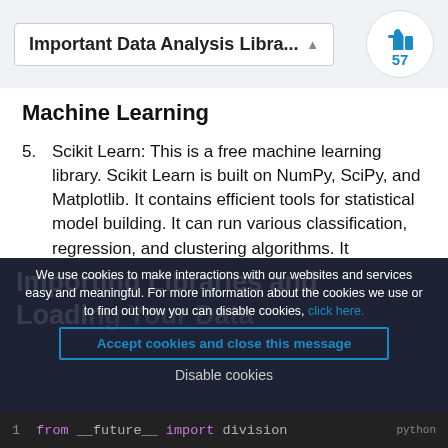Important Data Analysis Libra...
Machine Learning
5. Scikit Learn: This is a free machine learning library. Scikit Learn is built on NumPy, SciPy, and Matplotlib. It contains efficient tools for statistical model building. It can run various classification, regression, and clustering algorithms. It integrates well with pandas while working on dataframes.
We use cookies to make interactions with our websites and services easy and meaningful. For more information about the cookies we use or to find out how you can disable cookies, click here.
Accept cookies and close this message
Disable cookies
1  from __future__ import division